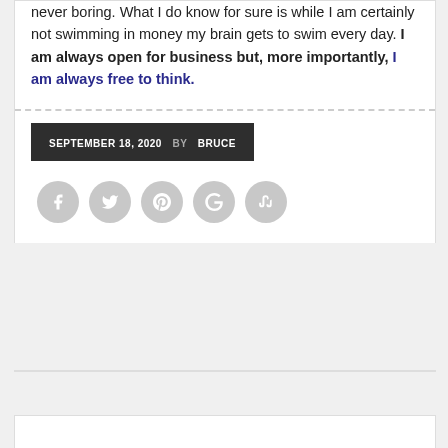never boring. What I do know for sure is while I am certainly not swimming in money my brain gets to swim every day. I am always open for business but, more importantly, I am always free to think.
SEPTEMBER 18, 2020  BY BRUCE
[Figure (infographic): Row of five social media icon circles (Facebook, Twitter, Pinterest, Google+, StumbleUpon) in grey]